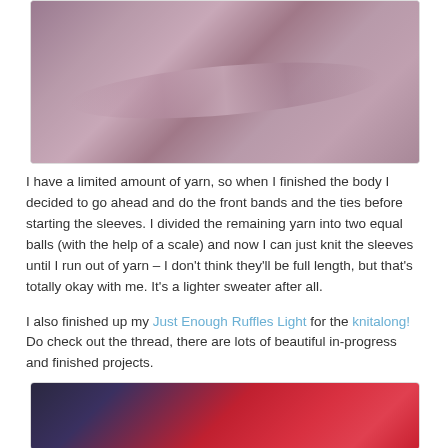[Figure (photo): Close-up photograph of purple/mauve knitted fabric showing texture and folds]
I have a limited amount of yarn, so when I finished the body I decided to go ahead and do the front bands and the ties before starting the sleeves. I divided the remaining yarn into two equal balls (with the help of a scale) and now I can just knit the sleeves until I run out of yarn – I don't think they'll be full length, but that's totally okay with me. It's a lighter sweater after all.
I also finished up my Just Enough Ruffles Light for the knitalong! Do check out the thread, there are lots of beautiful in-progress and finished projects.
[Figure (photo): Partial photograph showing red and dark blue/purple knitted fabric]